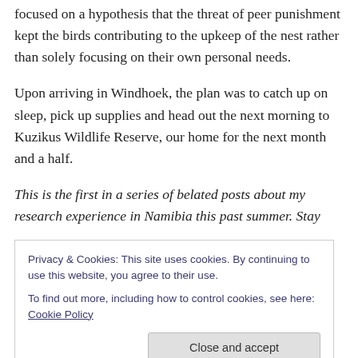focused on a hypothesis that the threat of peer punishment kept the birds contributing to the upkeep of the nest rather than solely focusing on their own personal needs.
Upon arriving in Windhoek, the plan was to catch up on sleep, pick up supplies and head out the next morning to Kuzikus Wildlife Reserve, our home for the next month and a half.
This is the first in a series of belated posts about my research experience in Namibia this past summer. Stay
Privacy & Cookies: This site uses cookies. By continuing to use this website, you agree to their use.
To find out more, including how to control cookies, see here: Cookie Policy
Getting your team on